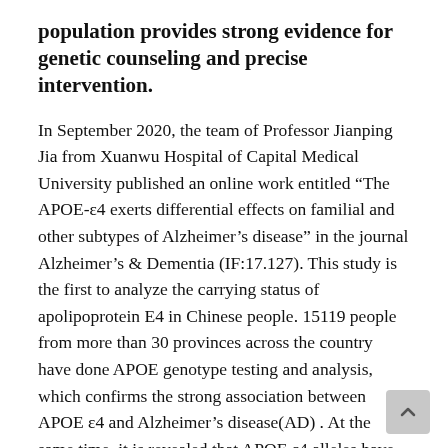population provides strong evidence for genetic counseling and precise intervention.
In September 2020, the team of Professor Jianping Jia from Xuanwu Hospital of Capital Medical University published an online work entitled “The APOE-ε4 exerts differential effects on familial and other subtypes of Alzheimer’s disease” in the journal Alzheimer’s & Dementia (IF:17.127). This study is the first to analyze the carrying status of apolipoprotein E4 in Chinese people. 15119 people from more than 30 provinces across the country have done APOE genotype testing and analysis, which confirms the strong association between APOE ε4 and Alzheimer’s disease(AD) . At the same time, it is revealed that APOE ε4 alleles have different risk effects in the three AD subtypes, especially in familial AD with unknown gene mutations.